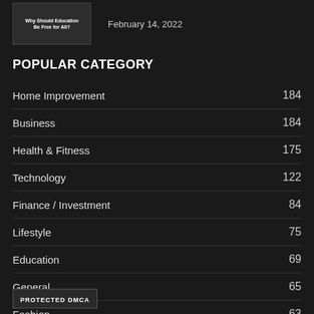[Figure (photo): Thumbnail image with text 'Why Should Education Be Free for All?']
February 14, 2022
POPULAR CATEGORY
Home Improvement 184
Business 184
Health & Fitness 175
Technology 122
Finance / Investment 84
Lifestyle 75
Education 69
General 65
Fashion 63
PROTECTED DMCA